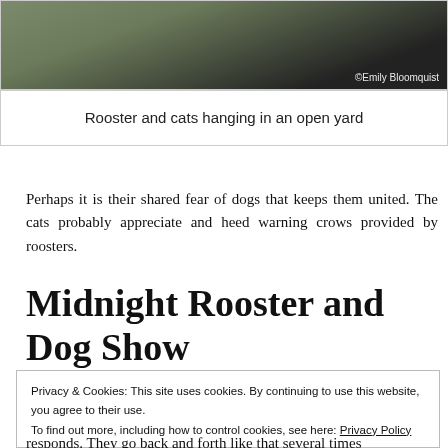[Figure (photo): Photo of a rooster and cats hanging in an open yard, partially cropped at top. Photo credit: Emily Bloomquist]
Rooster and cats hanging in an open yard
Perhaps it is their shared fear of dogs that keeps them united. The cats probably appreciate and heed warning crows provided by roosters.
Midnight Rooster and Dog Show
Privacy & Cookies: This site uses cookies. By continuing to use this website, you agree to their use.
To find out more, including how to control cookies, see here: Privacy Policy
Close and accept
responds. They go back and forth like that several times